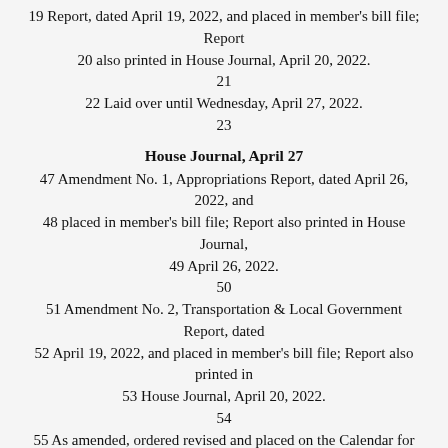19 Report, dated April 19, 2022, and placed in member's bill file; Report
20 also printed in House Journal, April 20, 2022.
21
22 Laid over until Wednesday, April 27, 2022.
23
House Journal, April 27
47 Amendment No. 1, Appropriations Report, dated April 26, 2022, and
48 placed in member's bill file; Report also printed in House Journal,
49 April 26, 2022.
50
51 Amendment No. 2, Transportation & Local Government Report, dated
52 April 19, 2022, and placed in member's bill file; Report also printed in
53 House Journal, April 20, 2022.
54
55 As amended, ordered revised and placed on the Calendar for Third
56 Reading and Final Passage.